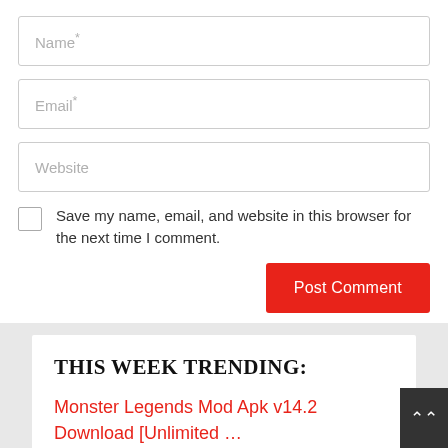[Figure (screenshot): Web form with Name, Email, Website input fields, a Save my name checkbox, and Post Comment button]
Save my name, email, and website in this browser for the next time I comment.
THIS WEEK TRENDING:
Monster Legends Mod Apk v14.2 Download [Unlimited …